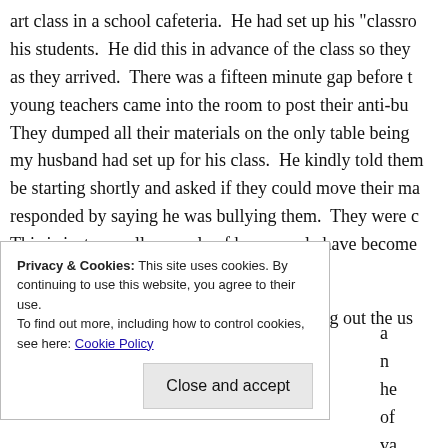art class in a school cafeteria. He had set up his "classro his students. He did this in advance of the class so they as they arrived. There was a fifteen minute gap before t young teachers came into the room to post their anti-bu They dumped all their materials on the only table being my husband had set up for his class. He kindly told them be starting shortly and asked if they could move their ma responded by saying he was bullying them. They were c This is just a small example of how people have become acknowledging it.
The month of October is devoted to stomping out the us
Privacy & Cookies: This site uses cookies. By continuing to use this website, you agree to their use.
To find out more, including how to control cookies, see here: Cookie Policy
Close and accept